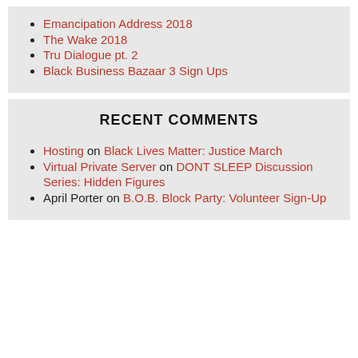Emancipation Address 2018
The Wake 2018
Tru Dialogue pt. 2
Black Business Bazaar 3 Sign Ups
RECENT COMMENTS
Hosting on Black Lives Matter: Justice March
Virtual Private Server on DONT SLEEP Discussion Series: Hidden Figures
April Porter on B.O.B. Block Party: Volunteer Sign-Up